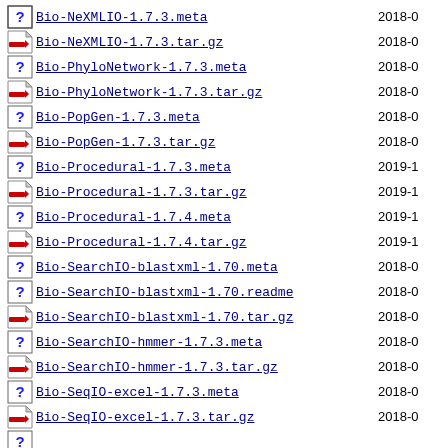Bio-NeXMLIO-1.7.3.meta  2018-0
Bio-NeXMLIO-1.7.3.tar.gz  2018-0
Bio-PhyloNetwork-1.7.3.meta  2018-0
Bio-PhyloNetwork-1.7.3.tar.gz  2018-0
Bio-PopGen-1.7.3.meta  2018-0
Bio-PopGen-1.7.3.tar.gz  2018-0
Bio-Procedural-1.7.3.meta  2019-1
Bio-Procedural-1.7.3.tar.gz  2019-1
Bio-Procedural-1.7.4.meta  2019-1
Bio-Procedural-1.7.4.tar.gz  2019-1
Bio-SearchIO-blastxml-1.70.meta  2018-0
Bio-SearchIO-blastxml-1.70.readme  2018-0
Bio-SearchIO-blastxml-1.70.tar.gz  2018-0
Bio-SearchIO-hmmer-1.7.3.meta  2018-0
Bio-SearchIO-hmmer-1.7.3.tar.gz  2018-0
Bio-SeqIO-excel-1.7.3.meta  2018-0
Bio-SeqIO-excel-1.7.3.tar.gz  2018-0